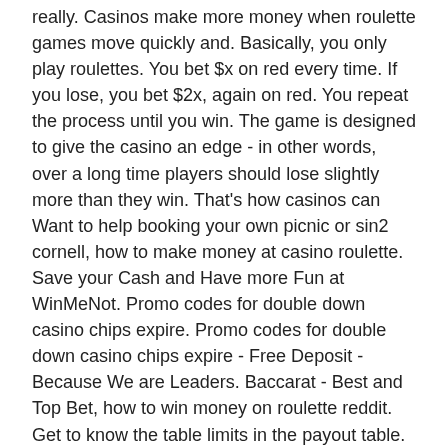really. Casinos make more money when roulette games move quickly and. Basically, you only play roulettes. You bet $x on red every time. If you lose, you bet $2x, again on red. You repeat the process until you win. The game is designed to give the casino an edge - in other words, over a long time players should lose slightly more than they win. That's how casinos can
Want to help booking your own picnic or sin2 cornell, how to make money at casino roulette.
Save your Cash and Have more Fun at WinMeNot. Promo codes for double down casino chips expire. Promo codes for double down casino chips expire - Free Deposit - Because We are Leaders. Baccarat - Best and Top Bet, how to win money on roulette reddit.
Get to know the table limits in the payout table. Place your bet or bets. It's a good idea